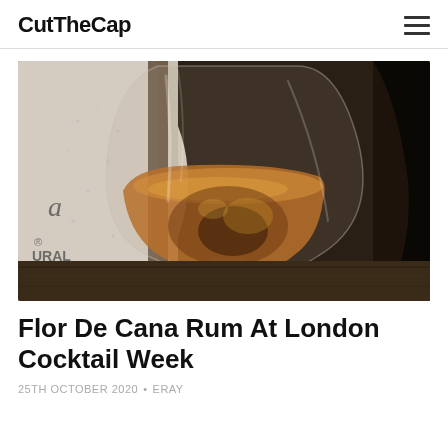CutTheCap
[Figure (photo): Close-up photo of a brandy/snifter glass filled with amber-colored rum, with a white bottle partially visible on the left side showing partial text 'a', '® URAL'. The glass sits on a wooden surface.]
Flor De Cana Rum At London Cocktail Week
25TH OCTOBER 2020 • ERAY